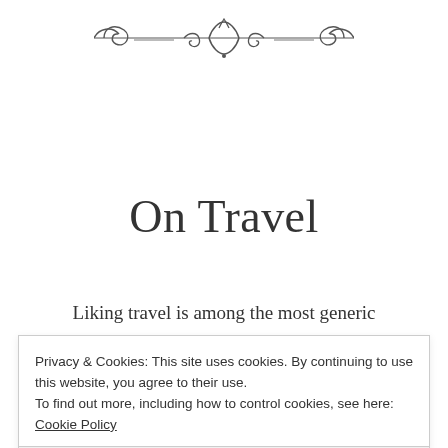[Figure (illustration): Decorative ornamental divider with swirl and scroll motifs, centered at the top of the page]
On Travel
Liking travel is among the most generic
Privacy & Cookies: This site uses cookies. By continuing to use this website, you agree to their use.
To find out more, including how to control cookies, see here: Cookie Policy
Close and accept
family, and friends.  Of course you like